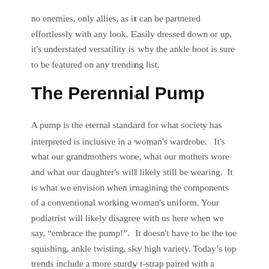no enemies, only allies, as it can be partnered effortlessly with any look. Easily dressed down or up, it's understated versatility is why the ankle boot is sure to be featured on any trending list.
The Perennial Pump
A pump is the eternal standard for what society has interpreted is inclusive in a woman's wardrobe.   It's what our grandmothers wore, what our mothers wore and what our daughter's will likely still be wearing.  It is what we envision when imagining the components of a conventional working woman's uniform. Your podiatrist will likely disagree with us here when we say, “embrace the pump!”.  It doesn't have to be the toe squishing, ankle twisting, sky high variety. Today’s top trends include a more sturdy t-strap paired with a reasonably smaller stiletto heel. You can still champion the traditional while ushering in the new with a twist on a classic style.